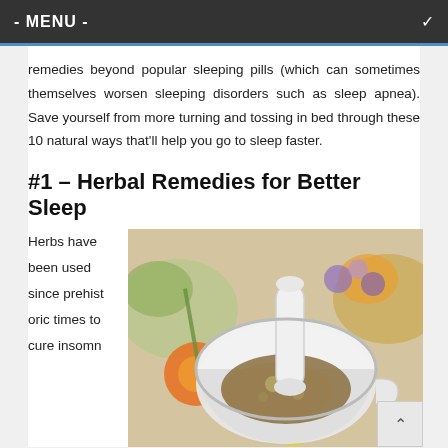- MENU -
remedies beyond popular sleeping pills (which can sometimes themselves worsen sleeping disorders such as sleep apnea). Save yourself from more turning and tossing in bed through these 10 natural ways that'll help you go to sleep faster.
#1 – Herbal Remedies for Better Sleep
Herbs have been used since prehistoric times to cure insomn
[Figure (photo): A white mortar and pestle filled with dried herbs, surrounded by colorful wildflowers on a blurred background]